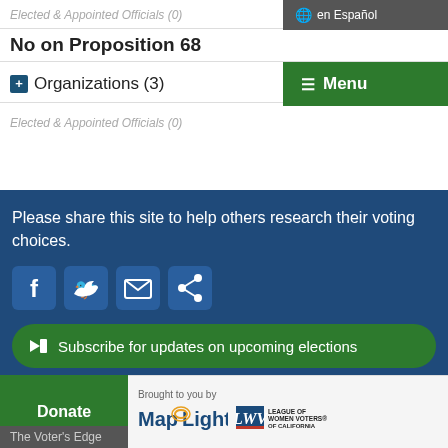Elected & Appointed Officials (0)
No on Proposition 68
+ Organizations (3)
☰ Menu
Elected & Appointed Officials (0)
Please share this site to help others research their voting choices.
[Figure (infographic): Social media share icons: Facebook, Twitter, Email, Share]
🔔 Subscribe for updates on upcoming elections
Donate
Brought to you by
[Figure (logo): MapLight logo with wifi icon]
[Figure (logo): LWV League of Women Voters of California Education Fund logo]
The Voter's Edge